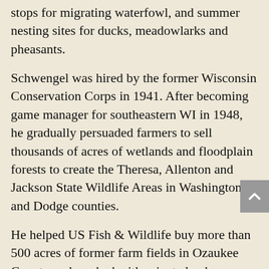stops for migrating waterfowl, and summer nesting sites for ducks, meadowlarks and pheasants.
Schwengel was hired by the former Wisconsin Conservation Corps in 1941. After becoming game manager for southeastern WI in 1948, he gradually persuaded farmers to sell thousands of acres of wetlands and floodplain forests to create the Theresa, Allenton and Jackson State Wildlife Areas in Washington and Dodge counties.
He helped US Fish & Wildlife buy more than 500 acres of former farm fields in Ozaukee County and worked with private landowners to reclaim more than 600 acres of previously drained wetlands in the region.
He retired in October, 2003 for the second and final time. In 1982, after 41 years of service, he stepped down from the DNR. He was rehired in 1989 to work on wetland restoration in Ozaukee County, where he resided. When